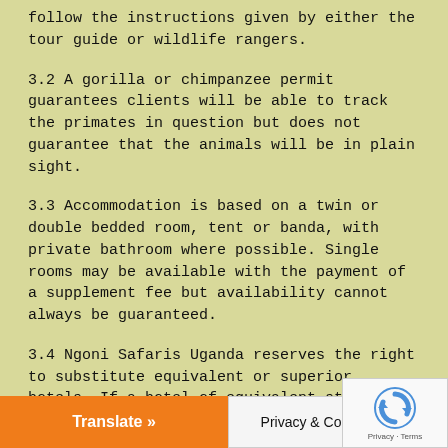follow the instructions given by either the tour guide or wildlife rangers.
3.2 A gorilla or chimpanzee permit guarantees clients will be able to track the primates in question but does not guarantee that the animals will be in plain sight.
3.3 Accommodation is based on a twin or double bedded room, tent or banda, with private bathroom where possible. Single rooms may be available with the payment of a supplement fee but availability cannot always be guaranteed.
3.4 Ngoni Safaris Uganda reserves the right to substitute equivalent or superior hotels. If a hotel of equivalent standard is not available Ngoni Safaris Uganda may substitute the next best quality hotel or suggest su standard accommodation (extra charges may apply).
Translate »   Privacy & Cookies Policy